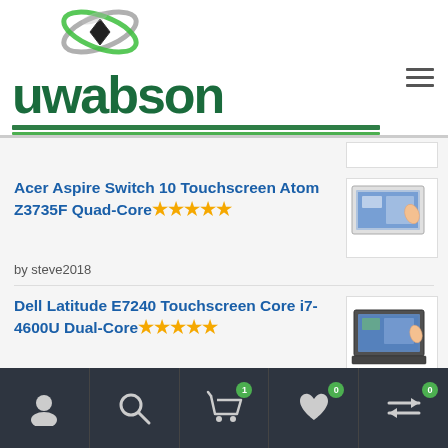[Figure (logo): Uwabson logo with green orbital icon above and bold dark green 'uwabson' text with green/dark underline stripes]
Acer Aspire Switch 10 Touchscreen Atom Z3735F Quad-Core ★★★★★
by steve2018
[Figure (photo): Photo of Acer Aspire Switch 10 tablet/laptop touchscreen device]
Dell Latitude E7240 Touchscreen Core i7-4600U Dual-Core ★★★★★
by steve2018
[Figure (photo): Photo of Dell Latitude E7240 touchscreen laptop]
Navigation bar with icons: user, search, cart (1), wishlist (0), compare (0)